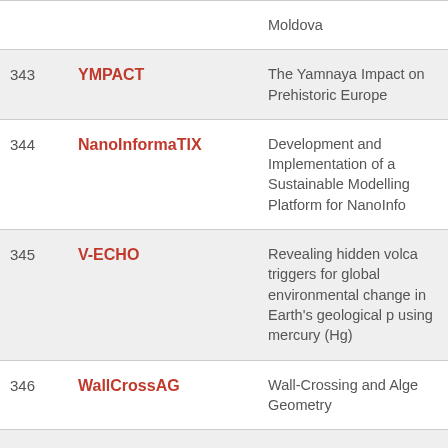| # | Acronym | Title |
| --- | --- | --- |
|  |  | Moldova |
| 343 | YMPACT | The Yamnaya Impact on Prehistoric Europe |
| 344 | NanoInformaTIX | Development and Implementation of a Sustainable Modelling Platform for NanoInfo |
| 345 | V-ECHO | Revealing hidden volca triggers for global environmental change in Earth's geological p using mercury (Hg) |
| 346 | WallCrossAG | Wall-Crossing and Alge Geometry |
| 347 | KAMINO-2 | Key Account Managen process for benefician the EU funded progra SME instrument, ETI |